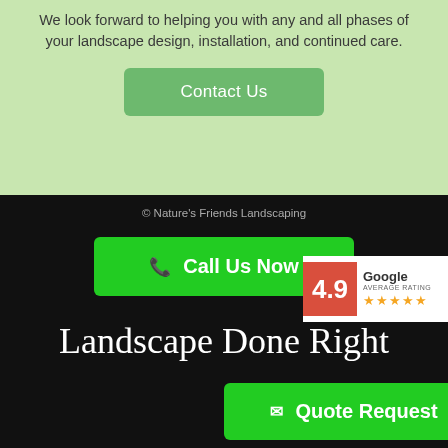We look forward to helping you with any and all phases of your landscape design, installation, and continued care.
Contact Us
© Nature's Friends Landscaping
Call Us Now
Landscape Done Right
[Figure (infographic): Google average rating badge showing 4.9 score with 5 stars on a red and white background]
Quote Request